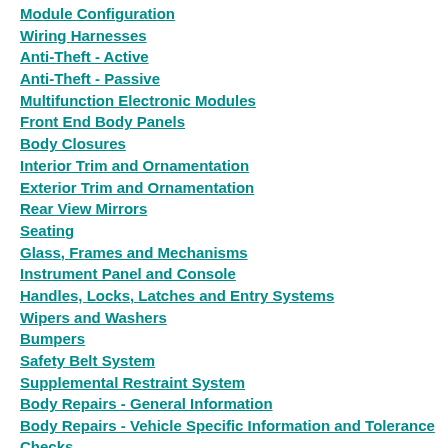Module Configuration
Wiring Harnesses
Anti-Theft - Active
Anti-Theft - Passive
Multifunction Electronic Modules
Front End Body Panels
Body Closures
Interior Trim and Ornamentation
Exterior Trim and Ornamentation
Rear View Mirrors
Seating
Glass, Frames and Mechanisms
Instrument Panel and Console
Handles, Locks, Latches and Entry Systems
Wipers and Washers
Bumpers
Safety Belt System
Supplemental Restraint System
Body Repairs - General Information
Body Repairs - Vehicle Specific Information and Tolerance Checks
Front End Sheet Metal Repairs
Roof Sheet Metal Repairs
Side Panel Sheet Metal Repairs